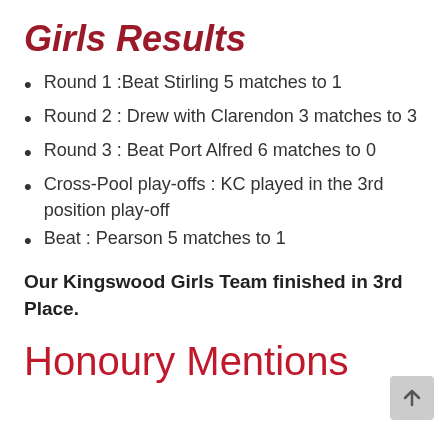Girls Results
Round 1 :Beat Stirling 5 matches to 1
Round 2 : Drew with Clarendon 3 matches to 3
Round 3 : Beat Port Alfred 6 matches to 0
Cross-Pool play-offs : KC played in the 3rd position play-off
Beat : Pearson 5 matches to 1
Our Kingswood Girls Team finished in 3rd Place.
Honoury Mentions